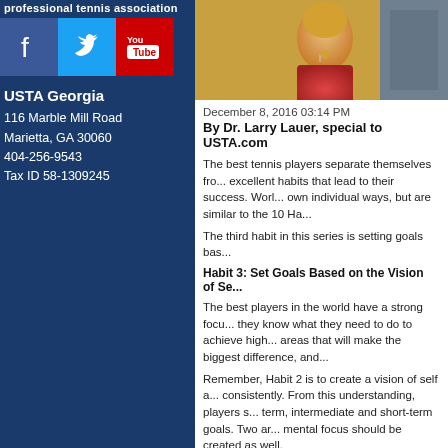professional tennis association
[Figure (logo): Social media icons: Facebook (blue), Twitter (light blue), YouTube (red with play button)]
USTA Georgia
116 Marble Mill Road
Marietta, GA 30060
404-256-9543
Tax ID 58-1309245
[Figure (photo): Photo of a female tennis player wearing a red outfit with a cross necklace]
December 8, 2016 03:14 PM
By Dr. Larry Lauer, special to USTA.com
The best tennis players separate themselves from the rest by developing excellent habits that lead to their success. World-class players do this in their own individual ways, but are similar to the 10 Ha...
The third habit in this series is setting goals bas...
Habit 3: Set Goals Based on the Vision of Se...
The best players in the world have a strong focus on what they want; they know what they need to do to achieve high performance, the key areas that will make the biggest difference, and...
Remember, Habit 2 is to create a vision of self and play consistently. From this understanding, players set long-term, intermediate and short-term goals. Two areas of mental focus should be created as well.
In doing so, a target for development has been established with empowerment and accountability to achieve the...
At the same time players will also set three type...
Outcome goals. Here, the focus is on ach...
Performance goals. With these goals, the...